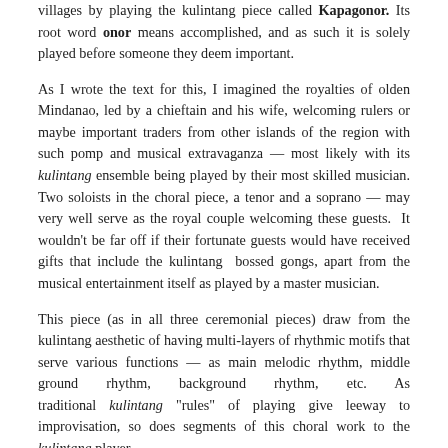villages by playing the kulintang piece called Kapagonor. Its root word onor means accomplished, and as such it is solely played before someone they deem important.
As I wrote the text for this, I imagined the royalties of olden Mindanao, led by a chieftain and his wife, welcoming rulers or maybe important traders from other islands of the region with such pomp and musical extravaganza — most likely with its kulintang ensemble being played by their most skilled musician. Two soloists in the choral piece, a tenor and a soprano — may very well serve as the royal couple welcoming these guests. It wouldn't be far off if their fortunate guests would have received gifts that include the kulintang bossed gongs, apart from the musical entertainment itself as played by a master musician.
This piece (as in all three ceremonial pieces) draw from the kulintang aesthetic of having multi-layers of rhythmic motifs that serve various functions — as main melodic rhythm, middle ground rhythm, background rhythm, etc. As traditional kulintang "rules" of playing give leeway to improvisation, so does segments of this choral work to the kulintang player.